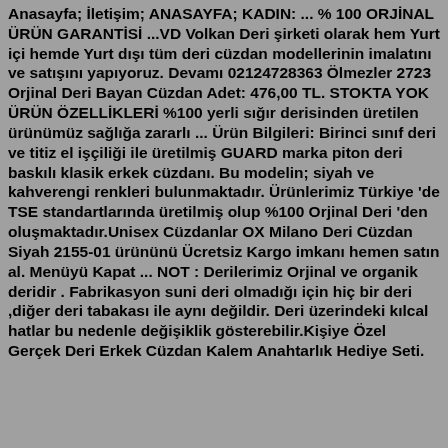Anasayfa; İletişim; ANASAYFA; KADIN: ... % 100 ORJİNAL ÜRÜN GARANTİSİ ...VD Volkan Deri şirketi olarak hem Yurt içi hemde Yurt dışı tüm deri cüzdan modellerinin imalatını ve satışını yapıyoruz. Devamı 02124728363 Ölmezler 2723 Orjinal Deri Bayan Cüzdan Adet: 476,00 TL. STOKTA YOK ÜRÜN ÖZELLİKLERİ %100 yerli sığır derisinden üretilen ürünümüz sağlığa zararlı ... Ürün Bilgileri: Birinci sınıf deri ve titiz el işçiliği ile üretilmiş GUARD marka piton deri baskılı klasik erkek cüzdanı. Bu modelin; siyah ve kahverengi renkleri bulunmaktadır. Ürünlerimiz Türkiye 'de TSE standartlarında üretilmiş olup %100 Orjinal Deri 'den oluşmaktadır.Unisex Cüzdanlar OX Milano Deri Cüzdan Siyah 2155-01 ürününü Ücretsiz Kargo imkanı hemen satın al. Menüyü Kapat ... NOT : Derilerimiz Orjinal ve organik deridir . Fabrikasyon suni deri olmadığı için hiç bir deri ,diğer deri tabakası ile aynı değildir. Deri üzerindeki kılcal hatlar bu nedenle değişiklik gösterebilir.Kişiye Özel Gerçek Deri Erkek Cüzdan Kalem Anahtarlık Hediye Seti.